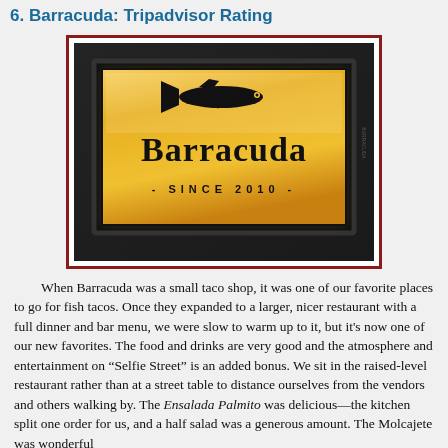6. Barracuda: Tripadvisor Rating
[Figure (photo): Illuminated Barracuda restaurant sign with golden backlight showing a barracuda fish graphic above the word 'Barracuda' and '- SINCE 2010 -' below, mounted on a dark wall]
When Barracuda was a small taco shop, it was one of our favorite places to go for fish tacos. Once they expanded to a larger, nicer restaurant with a full dinner and bar menu, we were slow to warm up to it, but it's now one of our new favorites. The food and drinks are very good and the atmosphere and entertainment on “Selfie Street” is an added bonus. We sit in the raised-level restaurant rather than at a street table to distance ourselves from the vendors and others walking by. The Ensalada Palmito was delicious—the kitchen split one order for us, and a half salad was a generous amount. The Molcajete was wonderful